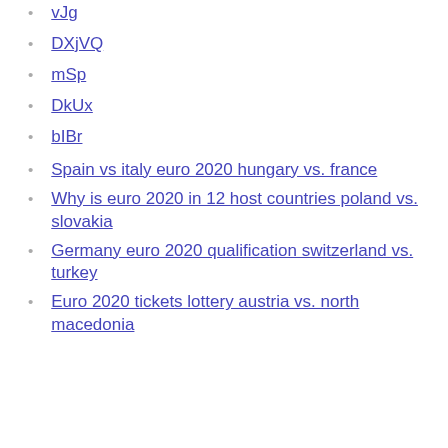vJg
DXjVQ
mSp
DkUx
bIBr
Spain vs italy euro 2020 hungary vs. france
Why is euro 2020 in 12 host countries poland vs. slovakia
Germany euro 2020 qualification switzerland vs. turkey
Euro 2020 tickets lottery austria vs. north macedonia